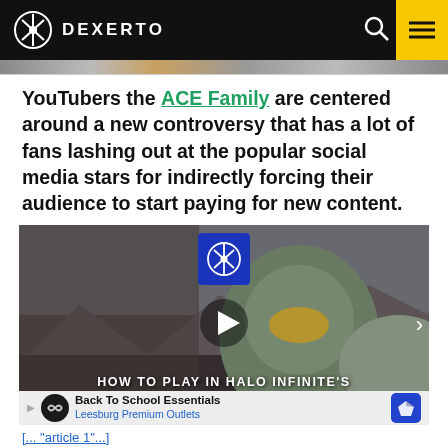DEXERTO
YouTubers the ACE Family are centered around a new controversy that has a lot of fans lashing out at the popular social media stars for indirectly forcing their audience to start paying for new content.
[Figure (screenshot): Embedded video player showing a Halo Infinite character with helmet, Dexerto logo watermark, play button overlay, and title overlay 'HOW TO PLAY IN HALO INFINITE'S'. An ad bar at bottom reads 'Back To School Essentials / Leesburg Premium Outlets'.]
[..."article 1"...]